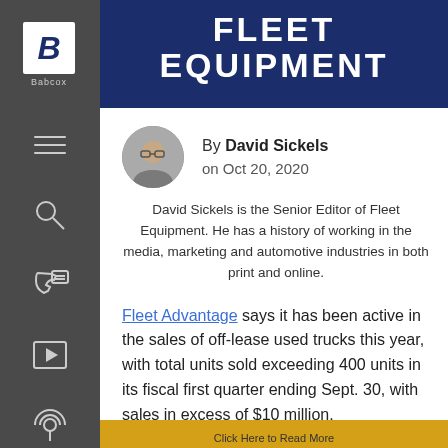FLEET EQUIPMENT
By David Sickels on Oct 20, 2020
David Sickels is the Senior Editor of Fleet Equipment. He has a history of working in the media, marketing and automotive industries in both print and online.
Fleet Advantage says it has been active in the sales of off-lease used trucks this year, with total units sold exceeding 400 units in its fiscal first quarter ending Sept. 30, with sales in excess of $10 million.
Click Here to Read More